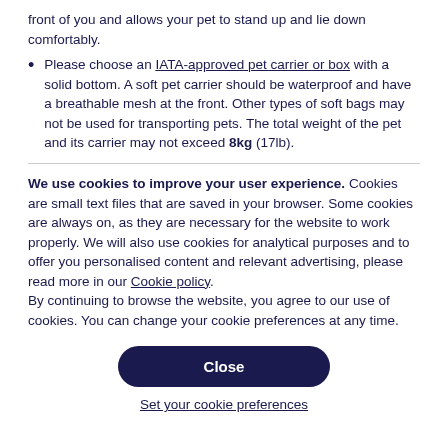front of you and allows your pet to stand up and lie down comfortably.
Please choose an IATA-approved pet carrier or box with a solid bottom. A soft pet carrier should be waterproof and have a breathable mesh at the front. Other types of soft bags may not be used for transporting pets. The total weight of the pet and its carrier may not exceed 8kg (17lb).
We use cookies to improve your user experience. Cookies are small text files that are saved in your browser. Some cookies are always on, as they are necessary for the website to work properly. We will also use cookies for analytical purposes and to offer you personalised content and relevant advertising, please read more in our Cookie policy.
By continuing to browse the website, you agree to our use of cookies. You can change your cookie preferences at any time.
Close
Set your cookie preferences